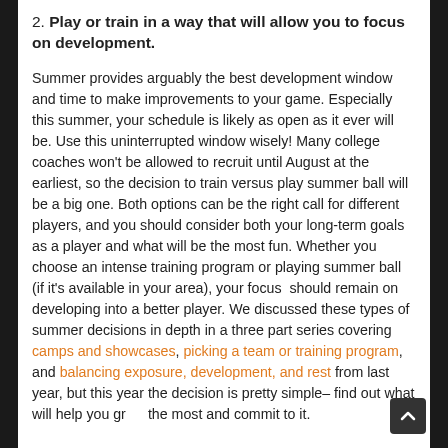2. Play or train in a way that will allow you to focus on development.
Summer provides arguably the best development window and time to make improvements to your game. Especially this summer, your schedule is likely as open as it ever will be. Use this uninterrupted window wisely! Many college coaches won't be allowed to recruit until August at the earliest, so the decision to train versus play summer ball will be a big one. Both options can be the right call for different players, and you should consider both your long-term goals as a player and what will be the most fun. Whether you choose an intense training program or playing summer ball (if it's available in your area), your focus  should remain on developing into a better player. We discussed these types of summer decisions in depth in a three part series covering camps and showcases, picking a team or training program, and balancing exposure, development, and rest from last year, but this year the decision is pretty simple– find out what will help you grow the most and commit to it.